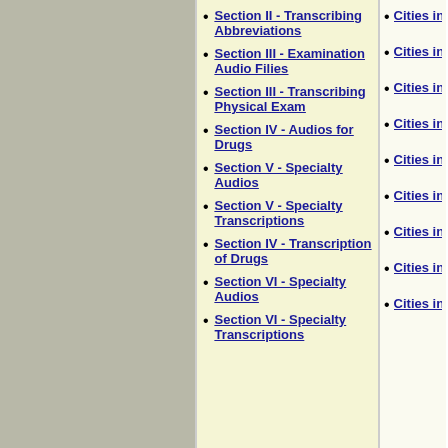Section II - Transcribing Abbreviations
Section III - Examination Audio Filies
Section III - Transcribing Physical Exam
Section IV - Audios for Drugs
Section V - Specialty Audios
Section V - Specialty Transcriptions
Section IV - Transcription of Drugs
Section VI - Specialty Audios
Section VI - Specialty Transcriptions
Cities in N
Cities in C
Cities in N
Cities in N
Cities in N
Cities in N
Cities in N
Cities in N
Cities in N